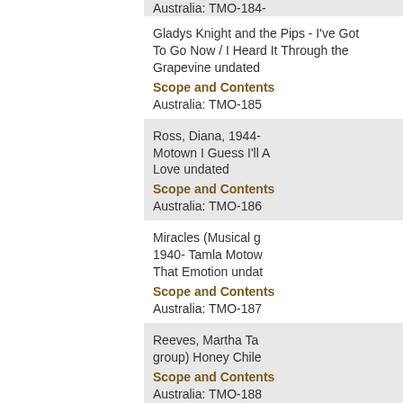Australia: TMO-184-
Gladys Knight and the Pips - I've Got To Go Now / I Heard It Through the Grapevine undated
Scope and Contents
Australia: TMO-185
Ross, Diana, 1944- Tamla Motown I Guess I'll Always Be In Love undated
Scope and Contents
Australia: TMO-186
Miracles (Musical group) 1940- Tamla Motown I Like That Emotion undated
Scope and Contents
Australia: TMO-187
Reeves, Martha Tamla Motown (Musical group) Honey Chile
Scope and Contents
Australia: TMO-188